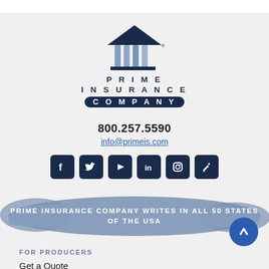[Figure (logo): Prime Insurance Company logo - building/temple icon with columns in navy blue]
PRIME INSURANCE COMPANY
800.257.5590
info@primeis.com
[Figure (infographic): Row of social media icons: Facebook, Twitter, YouTube, LinkedIn, Instagram, Blog/Edit]
PRIME INSURANCE COMPANY WRITES IN ALL 50 STATES OF THE USA
FOR PRODUCERS
Get a Quote
Application Forms